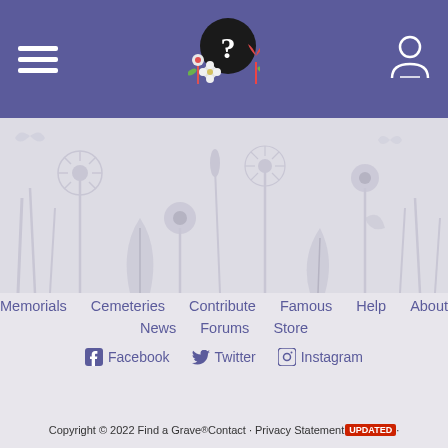Find a Grave navigation header with hamburger menu, logo, and user icon
[Figure (illustration): Decorative flower and plant silhouettes banner in light gray/white on gray background]
Memorials
Cemeteries
Contribute
Famous
Help
About
News
Forums
Store
Facebook
Twitter
Instagram
Tour  Tutorials
Website Feedback
Language: English  Mobile Apps
Copyright © 2022 Find a Grave® Contact · Privacy Statement UPDATED ·